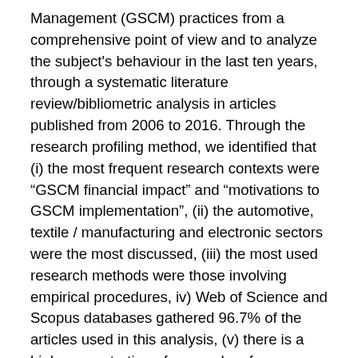Management (GSCM) practices from a comprehensive point of view and to analyze the subject's behaviour in the last ten years, through a systematic literature review/bibliometric analysis in articles published from 2006 to 2016. Through the research profiling method, we identified that (i) the most frequent research contexts were “GSCM financial impact” and “motivations to GSCM implementation”, (ii) the automotive, textile / manufacturing and electronic sectors were the most discussed, (iii) the most used research methods were those involving empirical procedures, iv) Web of Science and Scopus databases gathered 96.7% of the articles used in this analysis, (v) there is a high concentration of researches from countries academically established and recognized, while developing countries are also present, (vi) Journal of Cleaner Production was the most cited journal and with more publications about GSCM, (vii) Samir Srivastava’s article had the highest Citation Score, and (viii) there are 11 GSCM research clusters. In addition, we discuss the content